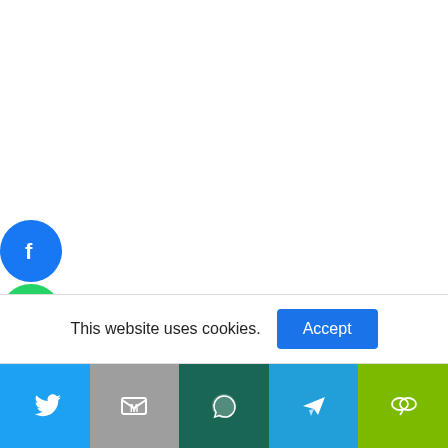[Figure (screenshot): Social media share icons sidebar: Facebook (blue circle), WhatsApp (green circle), Twitter (blue circle), SMS (green rounded square), LinkedIn (blue circle), Instagram (white circle with pink border)]
HOME › MP POLICE CONSTABLE AND ASI ANSWER KEY 2019 CHECK ANSWER KEY AND RESULT DATE
Answer Key
MP Police Constable and ASI Answer Key 2019
This website uses cookies.
[Figure (screenshot): Bottom share bar with Twitter (blue), Gmail (grey), WhatsApp (dark teal), Telegram (light blue), WeChat (green) icons]